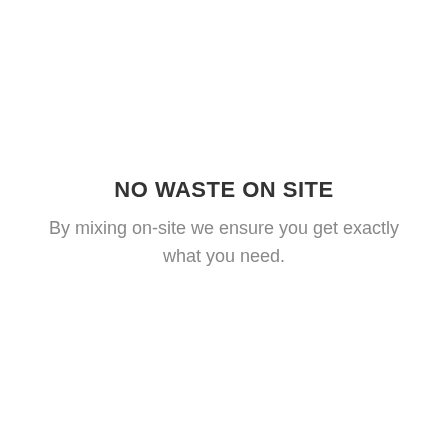NO WASTE ON SITE
By mixing on-site we ensure you get exactly what you need.